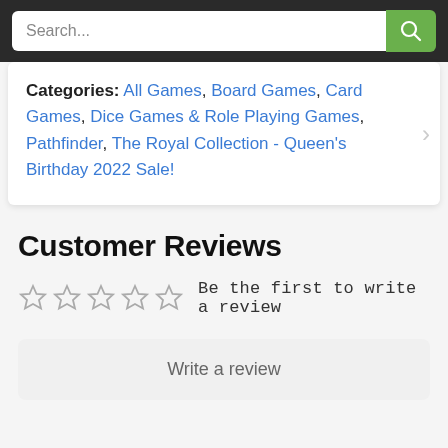Search...
Categories: All Games, Board Games, Card Games, Dice Games & Role Playing Games, Pathfinder, The Royal Collection - Queen's Birthday 2022 Sale!
Customer Reviews
Be the first to write a review
Write a review